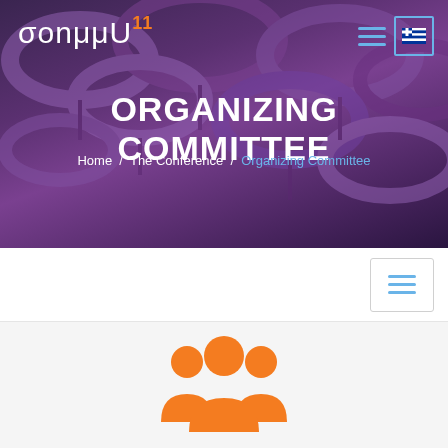[Figure (screenshot): Conference website hero banner with purple/dark umbrella background and logo 'σonμμU11' in white with orange '11' superscript. Navigation hamburger menu and Greek flag icon top right.]
ORGANIZING COMMITTEE
Home / The Conference / Organizing Committee
[Figure (other): Mobile navigation bar with hamburger menu button (three cyan lines) in a bordered box]
[Figure (illustration): Orange group/people icon (three silhouettes) representing organizing committee]
Organizing